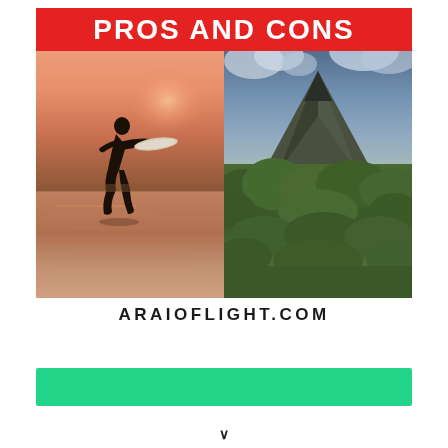PROS AND CONS
[Figure (photo): Two side-by-side photos: left shows a surfer carrying a surfboard at sunset on a beach with pink sky, right shows Arenal volcano in Costa Rica surrounded by lush green jungle with cloudy sky]
ARAIOFLIGHT.COM
[Figure (other): Green horizontal bar/banner element]